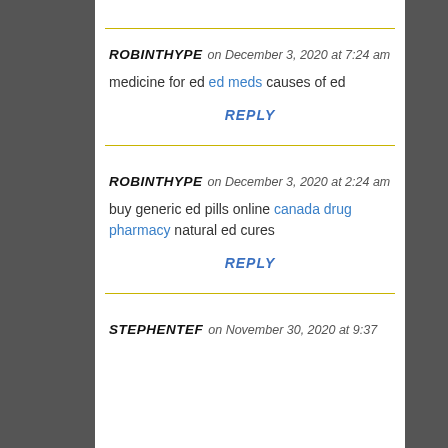ROBINTHYPE on December 3, 2020 at 7:24 am
medicine for ed ed meds causes of ed
REPLY
ROBINTHYPE on December 3, 2020 at 2:24 am
buy generic ed pills online canada drug pharmacy natural ed cures
REPLY
STEPHENTEF on November 30, 2020 at 9:37